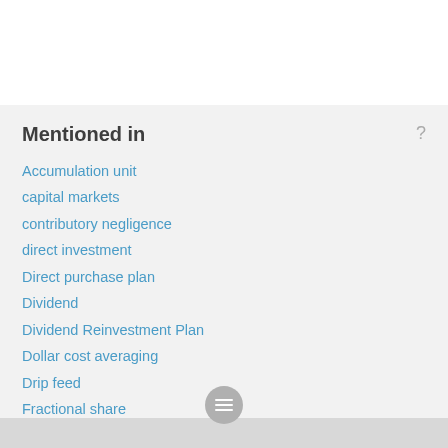Mentioned in
Accumulation unit
capital markets
contributory negligence
direct investment
Direct purchase plan
Dividend
Dividend Reinvestment Plan
Dollar cost averaging
Drip feed
Fractional share
no-load DRIP
Reinvestment